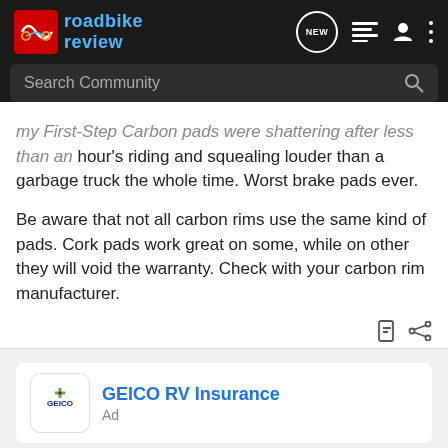roadbike review
my First-Step Carbon pads were shattering after less than an hour's riding and squealing louder than a garbage truck the whole time. Worst brake pads ever.
Be aware that not all carbon rims use the same kind of pads. Cork pads work great on some, while on other they will void the warranty. Check with your carbon rim manufacturer.
[Figure (screenshot): GEICO RV Insurance advertisement card with GEICO logo]
GEICO offers affordable RV insurance with great coverage for your needs